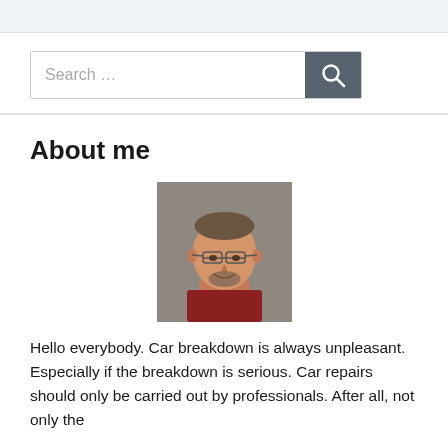[Figure (other): Search bar with text input field showing 'Search …' placeholder and a dark grey search button with magnifying glass icon]
About me
[Figure (photo): Portrait photo of a middle-aged man with glasses, short hair, goatee, wearing a red/dark shirt, smiling, against a grey background]
Hello everybody. Car breakdown is always unpleasant. Especially if the breakdown is serious. Car repairs should only be carried out by professionals. After all, not only the